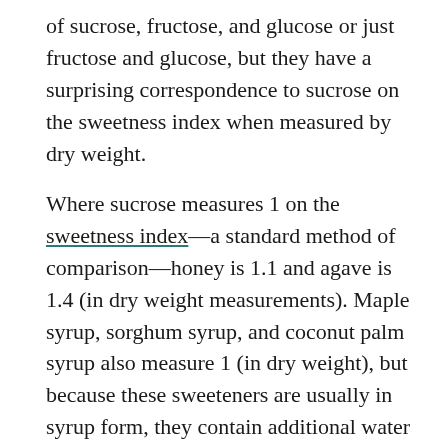of sucrose, fructose, and glucose or just fructose and glucose, but they have a surprising correspondence to sucrose on the sweetness index when measured by dry weight.
Where sucrose measures 1 on the sweetness index—a standard method of comparison—honey is 1.1 and agave is 1.4 (in dry weight measurements). Maple syrup, sorghum syrup, and coconut palm syrup also measure 1 (in dry weight), but because these sweeteners are usually in syrup form, they contain additional water weight, so when they're used in